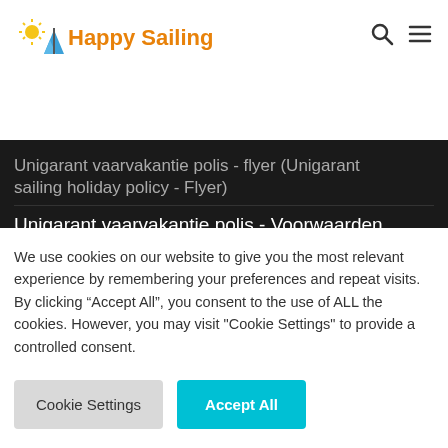[Figure (logo): Happy Sailing logo with sun and sailboat icon and orange script text]
Unigarant vaarvakantie polis - flyer (Unigarant sailing holiday policy - Flyer)
Unigarant vaarvakantie polis - Voorwaarden (Unigarant sailing holiday policy - Requirements)
Nieuws blog en artikelen / News blog and articles / Nachrichtenblog und Artikel
Zeilen op het IJsselmeer / Sailing on the IJsselmeer / Segeln auf dem Ijsselmeer
We use cookies on our website to give you the most relevant experience by remembering your preferences and repeat visits. By clicking “Accept All”, you consent to the use of ALL the cookies. However, you may visit "Cookie Settings" to provide a controlled consent.
Cookie Settings
Accept All